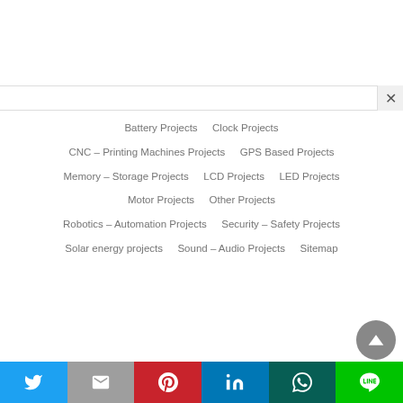Battery Projects
Clock Projects
CNC – Printing Machines Projects
GPS Based Projects
Memory – Storage Projects
LCD Projects
LED Projects
Motor Projects
Other Projects
Robotics – Automation Projects
Security – Safety Projects
Solar energy projects
Sound – Audio Projects
Sitemap
[Figure (screenshot): Share bar with Twitter, Gmail, Pinterest, LinkedIn, WhatsApp, and LINE buttons]